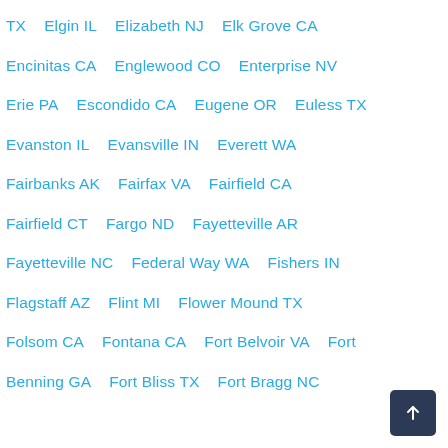TX   Elgin IL   Elizabeth NJ   Elk Grove CA
Encinitas CA   Englewood CO   Enterprise NV
Erie PA   Escondido CA   Eugene OR   Euless TX
Evanston IL   Evansville IN   Everett WA
Fairbanks AK   Fairfax VA   Fairfield CA
Fairfield CT   Fargo ND   Fayetteville AR
Fayetteville NC   Federal Way WA   Fishers IN
Flagstaff AZ   Flint MI   Flower Mound TX
Folsom CA   Fontana CA   Fort Belvoir VA   Fort
Benning GA   Fort Bliss TX   Fort Bragg NC